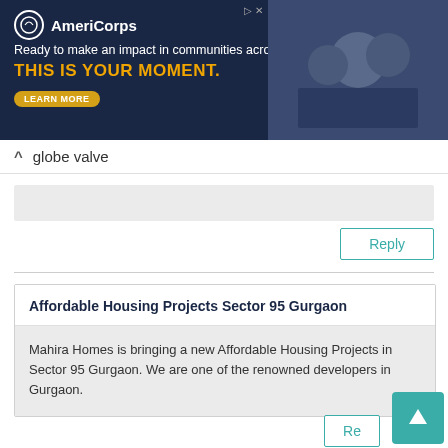[Figure (screenshot): AmeriCorps advertisement banner with dark navy background. Logo with circle icon and AmeriCorps text. Tagline: 'Ready to make an impact in communities across the country?' Headline in gold: 'THIS IS YOUR MOMENT.' with a 'LEARN MORE' button. Right side shows a photo of people.]
globe valve
Reply
Affordable Housing Projects Sector 95 Gurgaon
Mahira Homes is bringing a new Affordable Housing Projects in Sector 95 Gurgaon. We are one of the renowned developers in Gurgaon.
Re